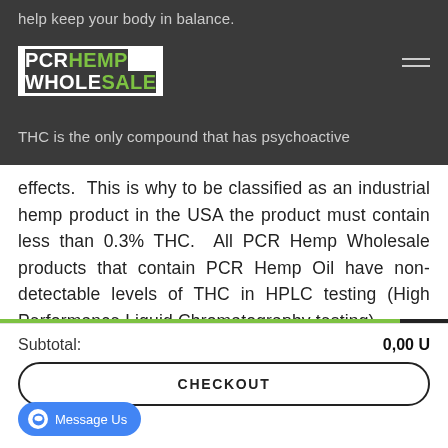help keep your body in balance.
[Figure (logo): PCR Hemp Wholesale logo with white and green text on dark background]
THC is the only compound that has psychoactive effects.  This is why to be classified as an industrial hemp product in the USA the product must contain less than 0.3% THC.  All PCR Hemp Wholesale products that contain PCR Hemp Oil have non-detectable levels of THC in HPLC testing (High Performance Liquid Chromatography testing).
Subtotal: 0,00 U
CHECKOUT